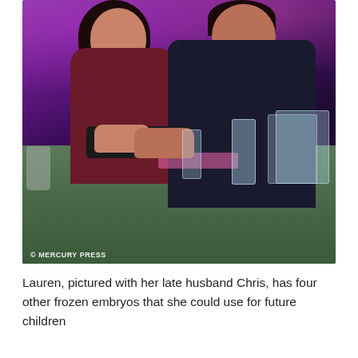[Figure (photo): A couple sitting together at a restaurant table. The woman has long dark hair and wears a dark red/maroon top, smiling. The man is behind her with his arm around her, wearing a dark top. On the table are drinks glasses, a black bag/laptop, and a pink mat. Background has purple/pink club-style lighting. Watermark reads '© MERCURY PRESS' in bottom left corner.]
Lauren, pictured with her late husband Chris, has four other frozen embryos that she could use for future children